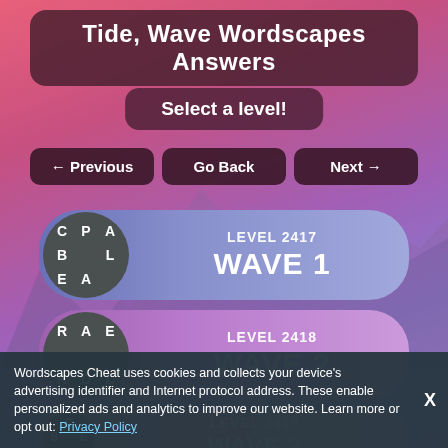Tide, Wave Wordscapes Answers
Select a level!
← Previous
Go Back
Next →
[Figure (other): Level card for LEVEL 2417 WAVE 1 with letter tiles C, P, A, B, L, E, A arranged in a circle]
[Figure (other): Level card for LEVEL 2418 WAVE 2 with letter tiles R, A, E, R, D, L arranged in a circle]
[Figure (other): Level card for LEVEL 2419 WAVE 3 (partially visible) with letter tiles S, C, E visible]
Wordscapes Cheat uses cookies and collects your device's advertising identifier and Internet protocol address. These enable personalized ads and analytics to improve our website. Learn more or opt out: Privacy Policy